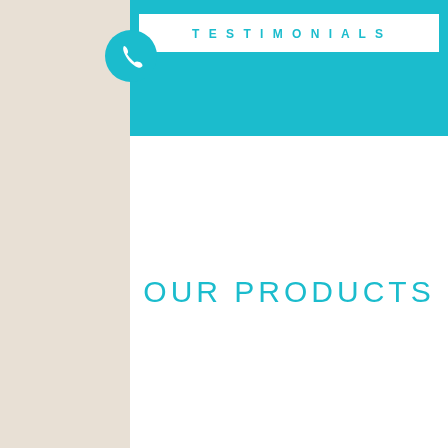[Figure (logo): Teal phone icon in a teal circle]
TESTIMONIALS
OUR PRODUCTS